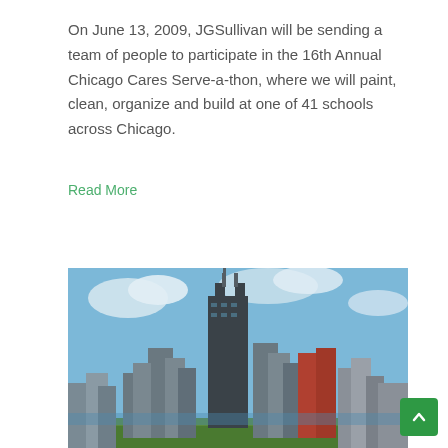On June 13, 2009, JGSullivan will be sending a team of people to participate in the 16th Annual Chicago Cares Serve-a-thon, where we will paint, clean, organize and build at one of 41 schools across Chicago.
Read More
[Figure (photo): Photo of the Chicago skyline featuring the Willis (Sears) Tower prominently in the center, with other skyscrapers and a blue sky with clouds in the background.]